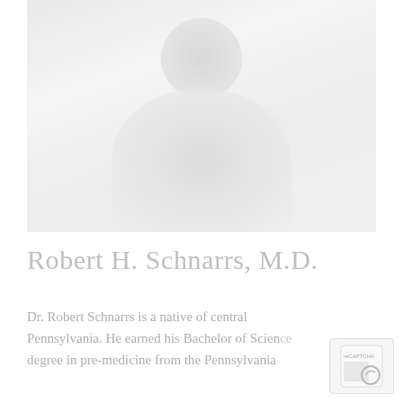[Figure (photo): Faded/washed-out portrait photo of Robert H. Schnarrs, M.D., showing a man in a suit with a tie and tie pin, facing forward and smiling slightly.]
Robert H. Schnarrs, M.D.
Dr. Robert Schnarrs is a native of central Pennsylvania. He earned his Bachelor of Science degree in pre-medicine from the Pennsylvania